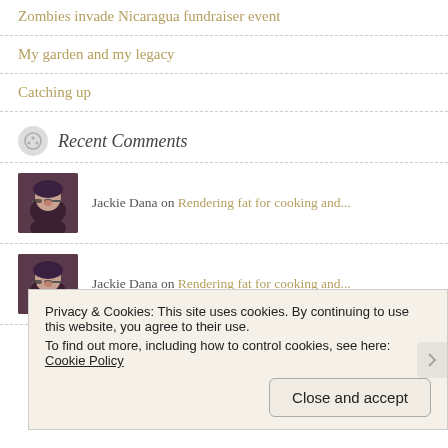Zombies invade Nicaragua fundraiser event
My garden and my legacy
Catching up
Recent Comments
Jackie Dana on Rendering fat for cooking and...
Jackie Dana on Rendering fat for cooking and...
Privacy & Cookies: This site uses cookies. By continuing to use this website, you agree to their use.
To find out more, including how to control cookies, see here: Cookie Policy
Close and accept